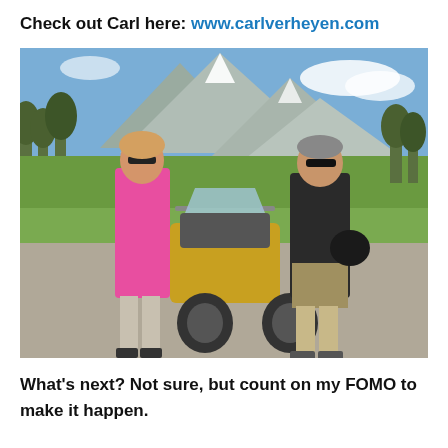Check out Carl here: www.carlverheyen.com
[Figure (photo): Two people standing in front of a motorcycle with mountains and green trees in the background on a sunny day. The woman on the left wears a pink shirt and sunglasses; the man on the right wears a dark jacket and khaki shorts and holds a helmet.]
What’s next? Not sure, but count on my FOMO to make it happen.